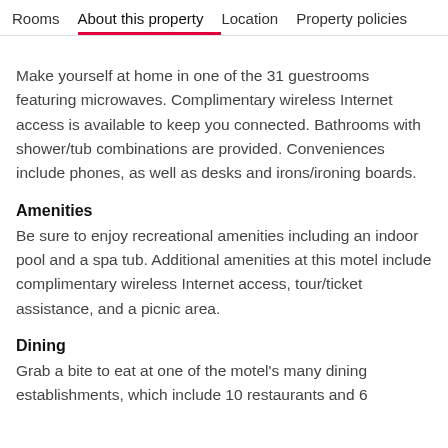Rooms | About this property | Location | Property policies
Make yourself at home in one of the 31 guestrooms featuring microwaves. Complimentary wireless Internet access is available to keep you connected. Bathrooms with shower/tub combinations are provided. Conveniences include phones, as well as desks and irons/ironing boards.
Amenities
Be sure to enjoy recreational amenities including an indoor pool and a spa tub. Additional amenities at this motel include complimentary wireless Internet access, tour/ticket assistance, and a picnic area.
Dining
Grab a bite to eat at one of the motel's many dining establishments, which include 10 restaurants and 6